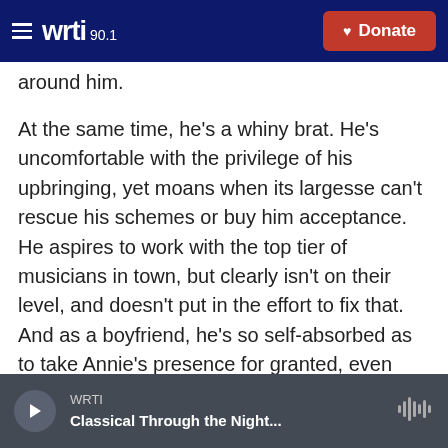WRTI 90.1 — Donate
around him.
At the same time, he's a whiny brat. He's uncomfortable with the privilege of his upbringing, yet moans when its largesse can't rescue his schemes or buy him acceptance. He aspires to work with the top tier of musicians in town, but clearly isn't on their level, and doesn't put in the effort to fix that. And as a boyfriend, he's so self-absorbed as to take Annie's presence for granted, even meddling drunkenly in her successes — not to mention cheating on her. It is implied, though never stated, that he's a tiny bit jealous of Annie's
WRTI — Classical Through the Night...